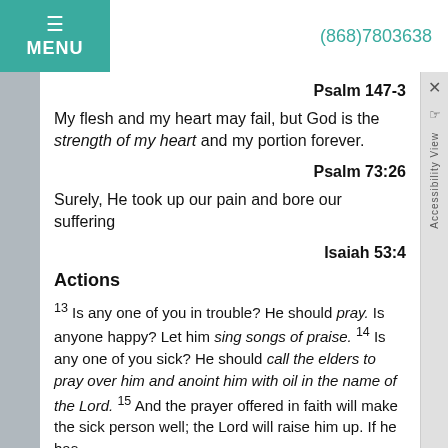MENU | (868)7803638
Psalm 147-3
My flesh and my heart may fail, but God is the strength of my heart and my portion forever.
Psalm 73:26
Surely, He took up our pain and bore our suffering
Isaiah 53:4
Actions
13 Is any one of you in trouble? He should pray. Is anyone happy? Let him sing songs of praise. 14 Is any one of you sick? He should call the elders to pray over him and anoint him with oil in the name of the Lord. 15 And the prayer offered in faith will make the sick person well; the Lord will raise him up. If he has